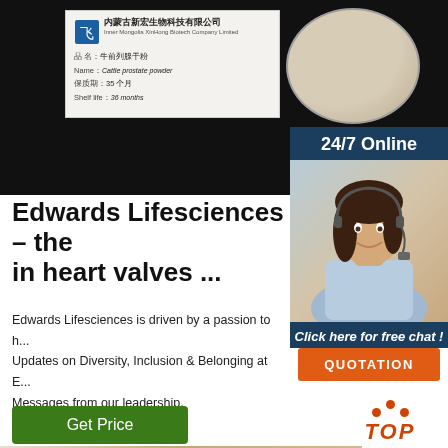[Figure (photo): Product photo showing a label card from Inner Mongolia Xinfeng Biotech Company Limited for Cattle prostate powder, shelf life 36 months, alongside a petri dish containing cream-colored powder, on a dark background]
[Figure (photo): 24/7 Online support panel with a female customer service agent wearing a headset, with Click here for free chat button and QUOTATION button]
Edwards Lifesciences – the in heart valves ...
Edwards Lifesciences is driven by a passion to h... Updates on Diversity, Inclusion & Belonging at E... Messages from our leadership.
[Figure (other): Get Price green button]
[Figure (logo): TOP logo with orange dots arranged in inverted V shape above the word TOP in orange italic text]
[Figure (photo): Bottom partial photo showing a warm-toned surface]